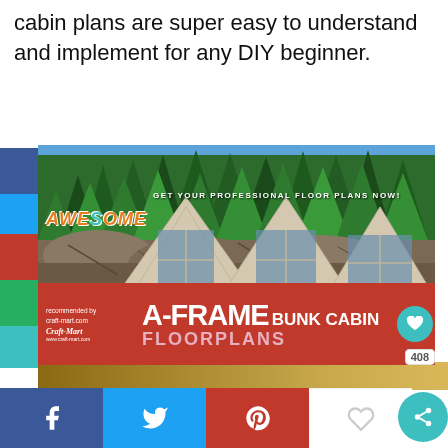cabin plans are super easy to understand and implement for any DIY beginner.
[Figure (photo): Advertisement image showing three A-frame cabin structures built on rocky shoreline with pine forest background. Red banner overlay at bottom reads 'AWESOME A-FRAME BUNK CABIN FLOORPLANS — GET YOUR PROFESSIONAL FLOOR PLANS NOW! recommended by craft-mart.com'. Teal heart icon and share count 408.]
[Figure (photo): Partial strip of another cabin interior/exterior image visible below the main image.]
[Figure (infographic): Row of social share buttons: Facebook (blue), Twitter (light blue), Pinterest (red), Favorites (white heart), and a teal share icon button.]